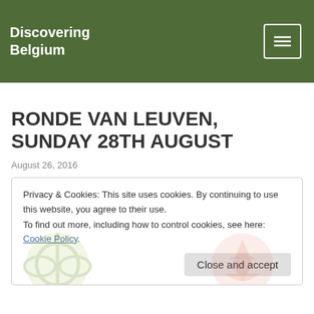Discovering Belgium
RONDE VAN LEUVEN, SUNDAY 28TH AUGUST
August 26, 2016
Privacy & Cookies: This site uses cookies. By continuing to use this website, you agree to their use.
To find out more, including how to control cookies, see here: Cookie Policy.
Close and accept